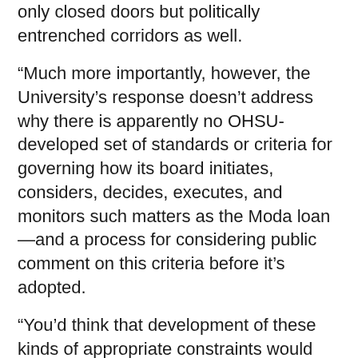only closed doors but politically entrenched corridors as well.
“Much more importantly, however, the University’s response doesn’t address why there is apparently no OHSU-developed set of standards or criteria for governing how its board initiates, considers, decides, executes, and monitors such matters as the Moda loan—and a process for considering public comment on this criteria before it’s adopted.
“You’d think that development of these kinds of appropriate constraints would have occurred first before OHSU’s board embarked on such a precedent-setting new frontier of quasi-becoming (or operating on behalf of) a major health insurer—or otherwise becoming, as many